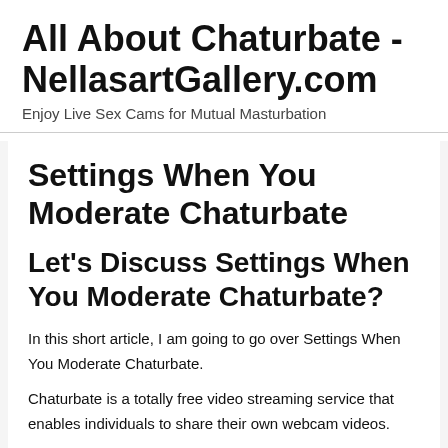All About Chaturbate - NellasartGallery.com
Enjoy Live Sex Cams for Mutual Masturbation
Settings When You Moderate Chaturbate
Let's Discuss Settings When You Moderate Chaturbate?
In this short article, I am going to go over Settings When You Moderate Chaturbate.
Chaturbate is a totally free video streaming service that enables individuals to share their own webcam videos.